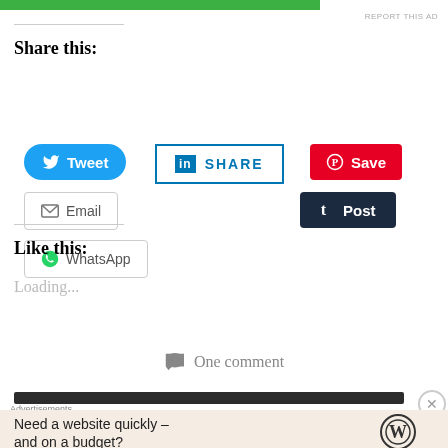[Figure (screenshot): Green progress bar at top of page]
REPORT THIS AD
Share this:
[Figure (screenshot): Social sharing buttons: Tweet (Twitter), SHARE (LinkedIn), Save (Pinterest), Email, Post (Tumblr), WhatsApp]
Like this:
Loading...
One comment
[Figure (screenshot): Dark bar separator]
Advertisements
Need a website quickly – and on a budget?
[Figure (logo): WordPress logo]